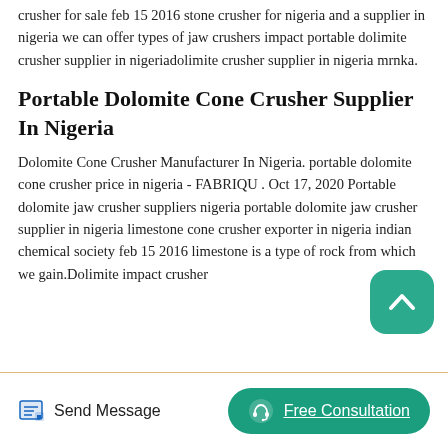crusher for sale feb 15 2016 stone crusher for nigeria and a supplier in nigeria we can offer types of jaw crushers impact portable dolimite crusher supplier in nigeriadolimite crusher supplier in nigeria mrnka.
Portable Dolomite Cone Crusher Supplier In Nigeria
Dolomite Cone Crusher Manufacturer In Nigeria. portable dolomite cone crusher price in nigeria - FABRIQU . Oct 17, 2020 Portable dolomite jaw crusher suppliers nigeria portable dolomite jaw crusher supplier in nigeria limestone cone crusher exporter in nigeria indian chemical society feb 15 2016 limestone is a type of rock from which we gain.Dolimite impact crusher
[Figure (other): Teal scroll-to-top button with upward chevron icon, positioned in the lower right of the content area]
Send Message
Free Consultation